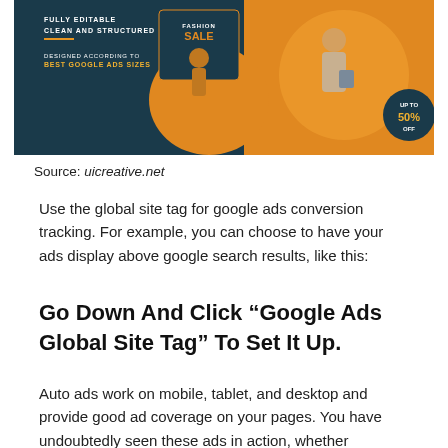[Figure (illustration): A fashion advertisement banner showing two Google Ads creative designs on a dark teal and orange background. Text reads: 'FULLY EDITABLE, CLEAN AND STRUCTURED, DESIGNED ACCORDING TO BEST GOOGLE ADS SIZES, FASHION SALE, UP TO 50% OFF'. Features women modeling fashion accessories.]
Source: uicreative.net
Use the global site tag for google ads conversion tracking. For example, you can choose to have your ads display above google search results, like this:
Go Down And Click “Google Ads Global Site Tag” To Set It Up.
Auto ads work on mobile, tablet, and desktop and provide good ad coverage on your pages. You have undoubtedly seen these ads in action, whether searching for something or just visiting one of your favorite websites. Custom search ads monetize search results in your site, mobile site